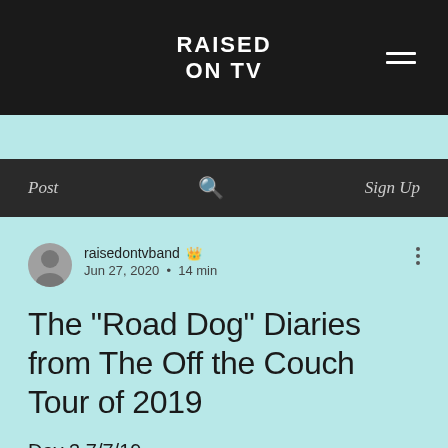RAISED ON TV
Post   🔍   Sign Up
raisedontvband 👑
Jun 27, 2020 · 14 min
The "Road Dog" Diaries from The Off the Couch Tour of 2019
Day 3 7/7/19